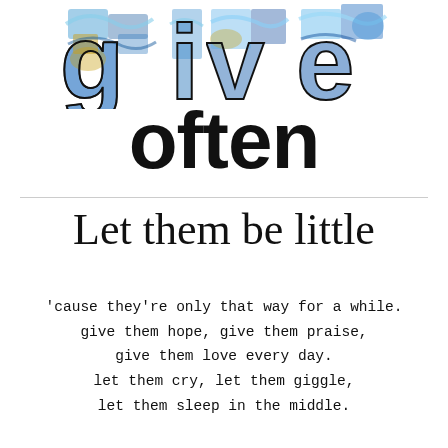[Figure (illustration): Decorative letters spelling 'give' with colorful painted/watercolor texture inside each letter, followed by the word 'often' in large bold black font below]
Let them be little
'cause they’re only that way for a while.
give them hope, give them praise,
give them love every day.
let them cry, let them giggle,
let them sleep in the middle.